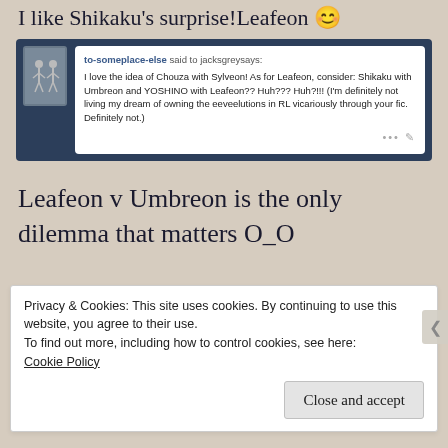I like Shikaku's surprise!Leafeon 😊
[Figure (screenshot): Tumblr comment block: to-someplace-else said to jacksgreysays: I love the idea of Chouza with Sylveon! As for Leafeon, consider: Shikaku with Umbreon and YOSHINO with Leafeon?? Huh??? Huh?!!! (I'm definitely not living my dream of owning the eeveelutions in RL vicariously through your fic. Definitely not.)]
Leafeon v Umbreon is the only dilemma that matters O_O
Privacy & Cookies: This site uses cookies. By continuing to use this website, you agree to their use.
To find out more, including how to control cookies, see here: Cookie Policy
Close and accept